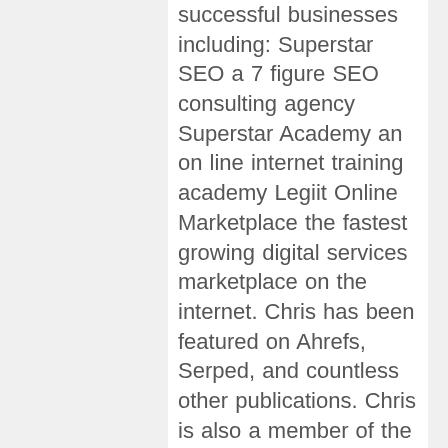successful businesses including: Superstar SEO a 7 figure SEO consulting agency Superstar Academy an on line internet training academy Legiit Online Marketplace the fastest growing digital services marketplace on the internet. Chris has been featured on Ahrefs, Serped, and countless other publications. Chris is also a member of the Forbes Technology Council. Chris started in internet marketing to be an affiliate marketer and while that is no longer his main